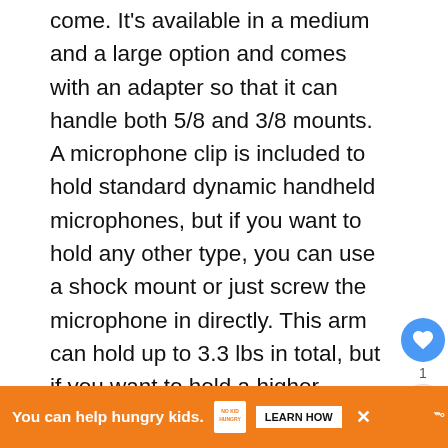come. It's available in a medium and a large option and comes with an adapter so that it can handle both 5/8 and 3/8 mounts. A microphone clip is included to hold standard dynamic handheld microphones, but if you want to hold any other type, you can use a shock mount or just screw the microphone in directly. This arm can hold up to 3.3 lbs in total, but if you want to hold a higher weight, you'll have to move the springs to the second screw hole.
[Figure (infographic): Heart/like button (blue circle with heart icon), count of 1, and share button (gray circle with share icon) on the right side of the page]
[Figure (infographic): WHAT'S NEXT arrow label in red/orange, thumbnail circle image, and '10 Best Twitch Name...' text link]
[Figure (infographic): Orange advertisement banner: 'You can help hungry kids.' with No Kid Hungry logo and LEARN HOW button, close X, and white logo on right]